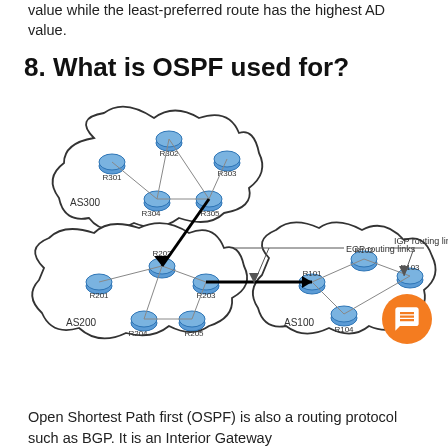value while the least-preferred route has the highest AD value.
8. What is OSPF used for?
[Figure (network-graph): Network diagram showing three autonomous systems (AS300, AS200, AS100) connected by routers. AS300 contains R301, R302, R303, R304, R305. AS200 contains R201, R202, R203, R204, R205. AS100 contains R101, R102, R103, R104. EGP routing links connect between AS regions, IGP routing links connect within AS regions. Labels indicate 'EGP routing links' and 'IGP routing links'.]
Open Shortest Path first (OSPF) is also a routing protocol such as BGP. It is an Interior Gateway